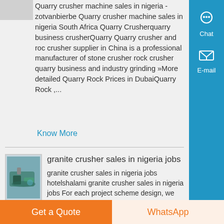Quarry crusher machine sales in nigeria - zotvanbierbe Quarry crusher machine sales in nigeria South Africa Quarry Crusherquarry business crusherQuarry Quarry crusher and roc crusher supplier in China is a professional manufacturer of stone crusher rock crusher quarry business and industry grinding »More detailed Quarry Rock Prices in DubaiQuarry Rock ,...
Know More
[Figure (photo): Thumbnail image of a granite crusher machine]
granite crusher sales in nigeria jobs
granite crusher sales in nigeria jobs hotelshalami granite crusher sales in nigeria jobs For each project scheme design, we will use professional knowledge to help you, carefully listen to your demands, respect your opinions, and use our
Get a Quote
WhatsApp